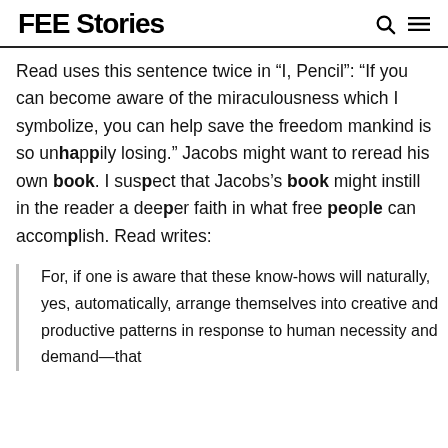FEE Stories
Read uses this sentence twice in “I, Pencil”: “If you can become aware of the miraculousness which I symbolize, you can help save the freedom mankind is so unhappily losing.” Jacobs might want to reread his own book. I suspect that Jacobs’s book might instill in the reader a deeper faith in what free people can accomplish. Read writes:
For, if one is aware that these know-hows will naturally, yes, automatically, arrange themselves into creative and productive patterns in response to human necessity and demand—that